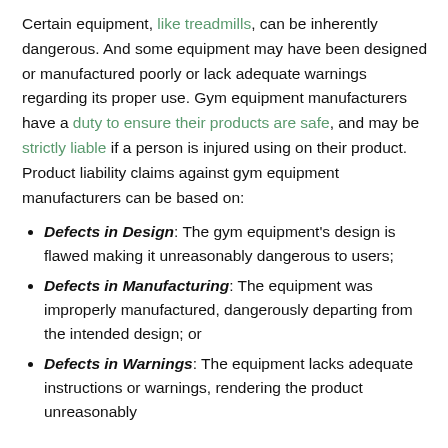Certain equipment, like treadmills, can be inherently dangerous. And some equipment may have been designed or manufactured poorly or lack adequate warnings regarding its proper use. Gym equipment manufacturers have a duty to ensure their products are safe, and may be strictly liable if a person is injured using on their product. Product liability claims against gym equipment manufacturers can be based on:
Defects in Design: The gym equipment's design is flawed making it unreasonably dangerous to users;
Defects in Manufacturing: The equipment was improperly manufactured, dangerously departing from the intended design; or
Defects in Warnings: The equipment lacks adequate instructions or warnings, rendering the product unreasonably